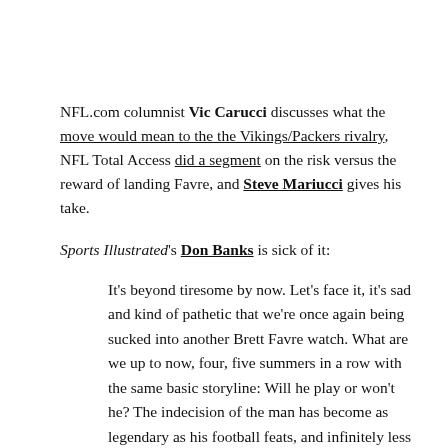NFL.com columnist Vic Carucci discusses what the move would mean to the the Vikings/Packers rivalry, NFL Total Access did a segment on the risk versus the reward of landing Favre, and Steve Mariucci gives his take.
Sports Illustrated's Don Banks is sick of it:
It's beyond tiresome by now. Let's face it, it's sad and kind of pathetic that we're once again being sucked into another Brett Favre watch. What are we up to now, four, five summers in a row with the same basic storyline: Will he play or won't he? The indecision of the man has become as legendary as his football feats, and infinitely less entertaining.